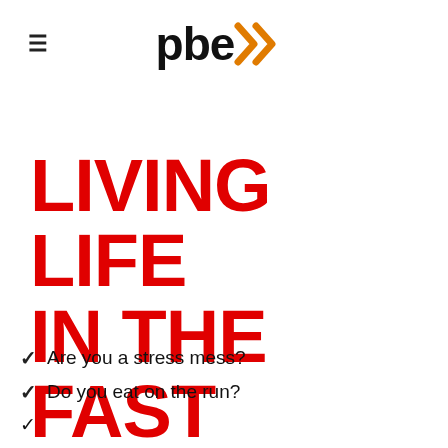≡   pbe»
LIVING LIFE IN THE FAST LANE?
✓ Are you a stress mess?
✓ Do you eat on the run?
✓ (partially visible)